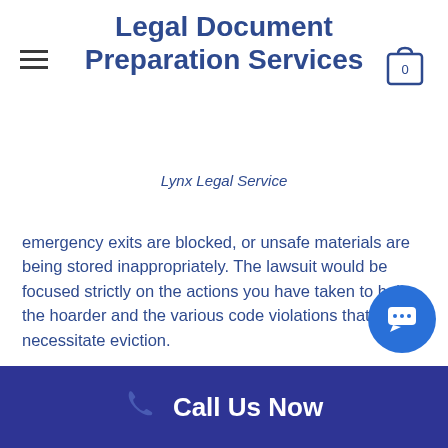Legal Document Preparation Services
Lynx Legal Service
emergency exits are blocked, or unsafe materials are being stored inappropriately.  The lawsuit would be focused strictly on the actions you have taken to help the hoarder and the various code violations that necessitate eviction.
You’ll want to use all of the documentation you’ve compiled to date to show the court that you’ve tried everything possible to accommodate the resident before the eviction became necessary. Since state law and local ordinances place a legal burden on a landlord to address the conditions of a hoarding tenant, a landlord best protects his or her legal
Call Us Now